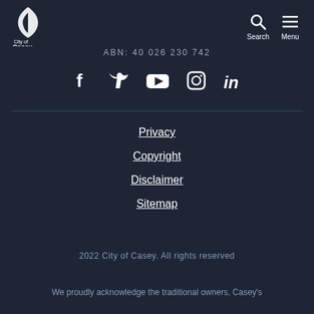City of Casey logo, Search, Menu
ABN: 40 026 230 742
[Figure (other): Social media icons: Facebook, Twitter, YouTube, Instagram, LinkedIn]
Privacy
Copyright
Disclaimer
Sitemap
2022 City of Casey. All rights reserved
We proudly acknowledge the traditional owners, Casey's